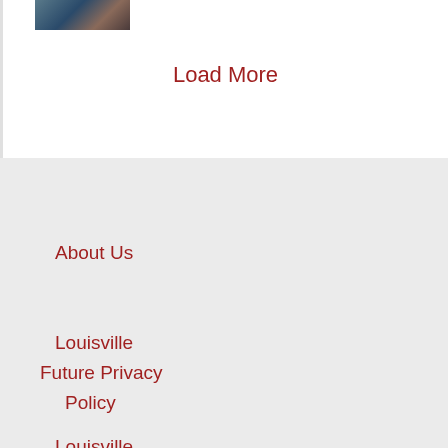[Figure (photo): Small thumbnail photo, partially visible at top-left, showing an outdoor scene with blue and brown tones]
Load More
About Us
Louisville Future Privacy Policy
Louisville